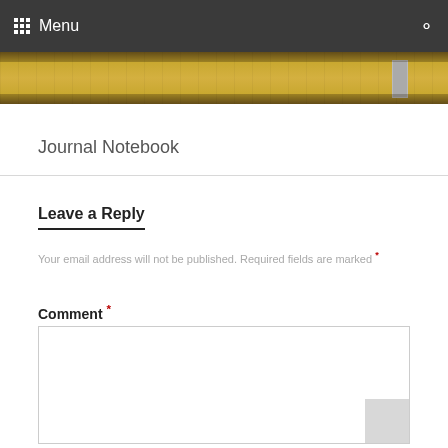Menu
[Figure (photo): A photo showing a yellow measuring tape/ruler on a surface, partially cropped at the top of the page.]
Journal Notebook
Leave a Reply
Your email address will not be published. Required fields are marked *
Comment *